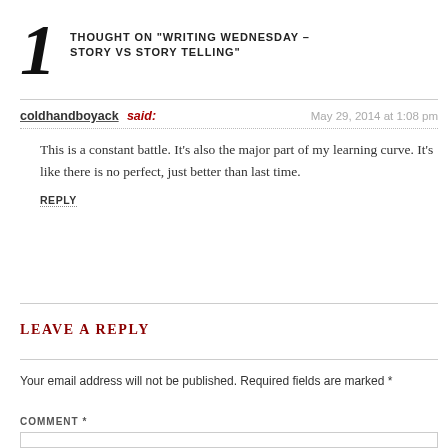1 THOUGHT ON “WRITING WEDNESDAY – STORY VS STORY TELLING”
coldhandboyack said:
May 29, 2014 at 1:08 pm
This is a constant battle. It’s also the major part of my learning curve. It’s like there is no perfect, just better than last time.
REPLY
LEAVE A REPLY
Your email address will not be published. Required fields are marked *
COMMENT *